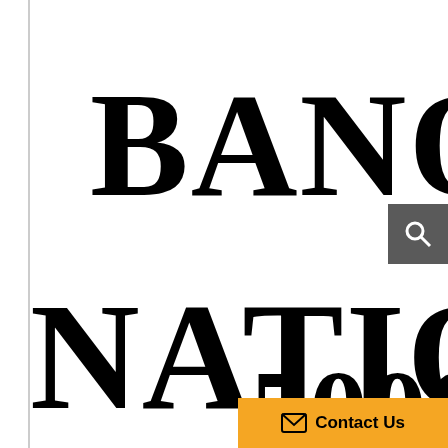[Figure (logo): Partial text logo showing 'BANQU' in large bold serif font, clipped at right edge]
[Figure (other): Search icon (magnifying glass) on dark grey square background]
[Figure (logo): Partial text logo showing 'NATIONA' in large bold serif font, clipped at right edge]
5000
[Figure (other): Orange 'Contact Us' button with envelope icon at bottom right]